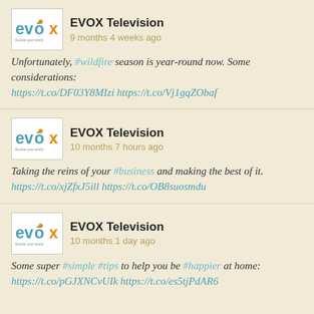[Figure (logo): EVOX Television logo with orange and teal branding]
EVOX Television
9 months 4 weeks ago
Unfortunately, #wildfire season is year-round now. Some considerations: https://t.co/DF03Y8MIzi https://t.co/Vj1gqZObaf
[Figure (logo): EVOX Television logo with orange and teal branding]
EVOX Television
10 months 7 hours ago
Taking the reins of your #business and making the best of it. https://t.co/xjZfxJ5ill https://t.co/OB8suosmdu
[Figure (logo): EVOX Television logo with orange and teal branding]
EVOX Television
10 months 1 day ago
Some super #simple #tips to help you be #happier at home: https://t.co/pGJXNCvUIk https://t.co/es5tjPdAR6